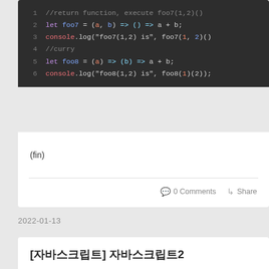[Figure (screenshot): Dark-themed code block showing JavaScript arrow function and curry examples, lines 1-6]
(fin)
0 Comments   Share
2022-01-13
[자바스크립트] 자바스크립트2